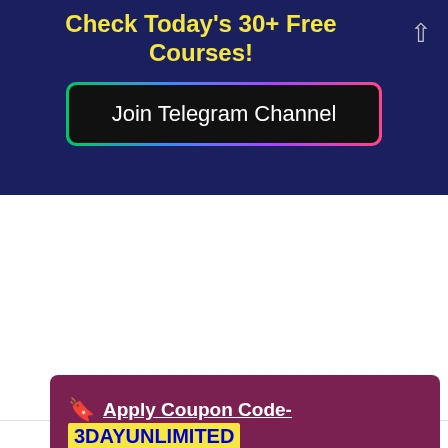Check Today's 30+ Free Courses!
Join Telegram Channel
Apply Coupon Code- 3DAYUNLIMITED
Note:- This Coupon is Free for First 500 Enrollments Only!